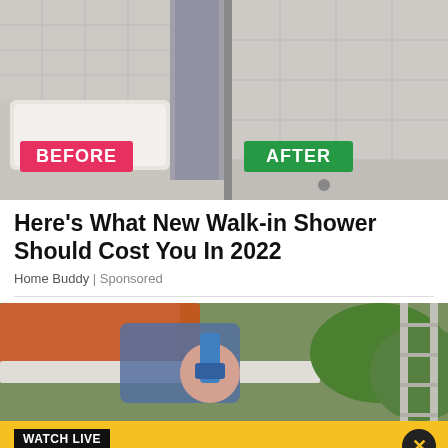[Figure (photo): Before and after comparison of a bathroom – left panel shows old bathtub labeled BEFORE (pink/red badge), right panel shows new walk-in shower labeled AFTER (green badge)]
Here's What New Walk-in Shower Should Cost You In 2022
Home Buddy | Sponsored
[Figure (photo): Person cleaning or installing a gutter on a house roof]
WATCH LIVE
[Figure (logo): FOX 10 Phoenix logo with sunset background]
FOX 10 Arizona Morning
The latest Arizona headlines, national news events of the day + sports, weather, and traffic updates.